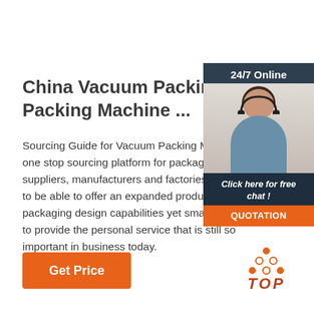China Vacuum Packing Machine, Va Packing Machine ...
Sourcing Guide for Vacuum Packing Machin one stop sourcing platform for packaging & p suppliers, manufacturers and factories, we a to be able to offer an expanded product line packaging design capabilities yet small enou to provide the personal service that is still so important in business today.
[Figure (photo): Customer service representative with headset, 24/7 Online sidebar widget with 'Click here for free chat!' text and orange QUOTATION button]
[Figure (logo): Orange TOP logo with dot triangle pattern above the word TOP in italic bold orange]
Get Price